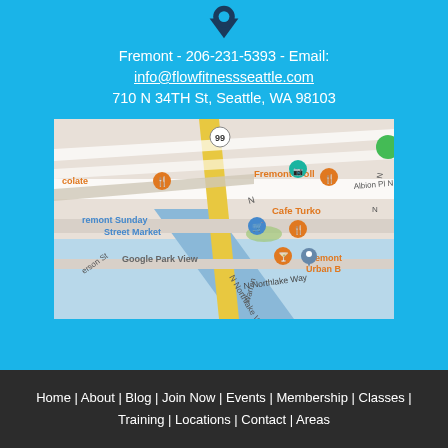Fremont - 206-231-5393 - Email: info@flowfitnessseattle.com 710 N 34TH St, Seattle, WA 98103
[Figure (map): Google Maps screenshot showing Fremont neighborhood in Seattle, WA near N 34th St. Shows landmarks including Fremont Troll, Cafe Turko, Fremont Sunday Street Market, Google Park View, N Northlake Way, and other nearby points of interest.]
Home | About | Blog | Join Now | Events | Membership | Classes | Training | Locations | Contact | Areas